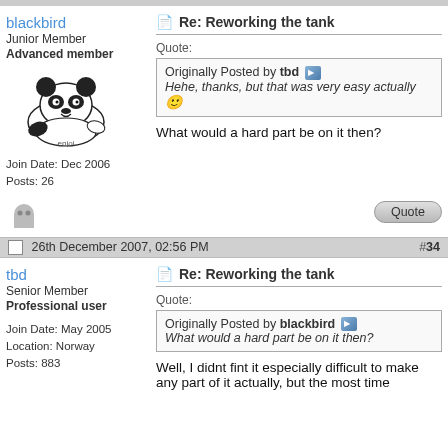blackbird
Junior Member
Advanced member
Join Date: Dec 2006
Posts: 26
Re: Reworking the tank
Quote:
Originally Posted by tbd
Hehe, thanks, but that was very easy actually
What would a hard part be on it then?
26th December 2007, 02:56 PM #34
tbd
Senior Member
Professional user
Join Date: May 2005
Location: Norway
Posts: 883
Re: Reworking the tank
Quote:
Originally Posted by blackbird
What would a hard part be on it then?
Well, I didnt fint it especially difficult to make any part of it actually, but the most time